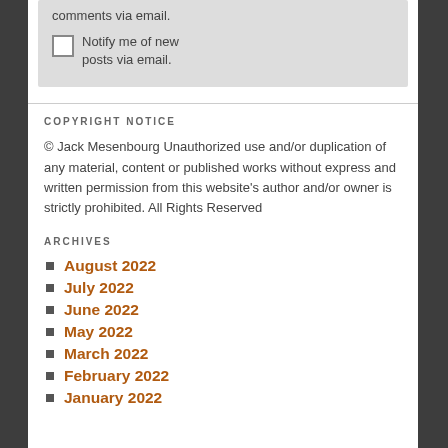comments via email.
Notify me of new posts via email.
COPYRIGHT NOTICE
© Jack Mesenbourg Unauthorized use and/or duplication of any material, content or published works without express and written permission from this website's author and/or owner is strictly prohibited.  All Rights Reserved
ARCHIVES
August 2022
July 2022
June 2022
May 2022
March 2022
February 2022
January 2022